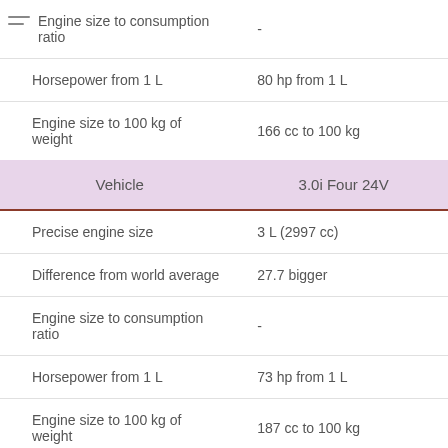| Vehicle | 3.0i Four 24V |
| --- | --- |
| Engine size to consumption ratio | - |
| Horsepower from 1 L | 80 hp from 1 L |
| Engine size to 100 kg of weight | 166 cc to 100 kg |
| Vehicle | 3.0i Four 24V |
| Precise engine size | 3 L (2997 cc) |
| Difference from world average | 27.7 bigger |
| Engine size to consumption ratio | - |
| Horsepower from 1 L | 73 hp from 1 L |
| Engine size to 100 kg of weight | 187 cc to 100 kg |
| Vehicle | 2.4 DT 16V |